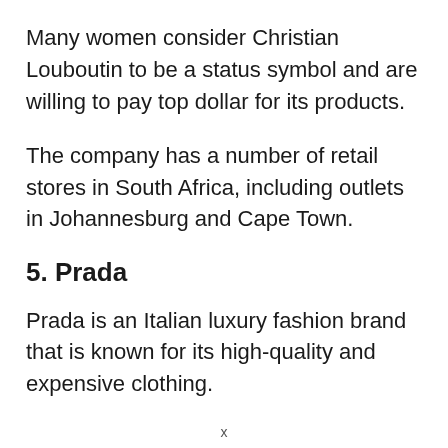Many women consider Christian Louboutin to be a status symbol and are willing to pay top dollar for its products.
The company has a number of retail stores in South Africa, including outlets in Johannesburg and Cape Town.
5. Prada
Prada is an Italian luxury fashion brand that is known for its high-quality and expensive clothing.
x